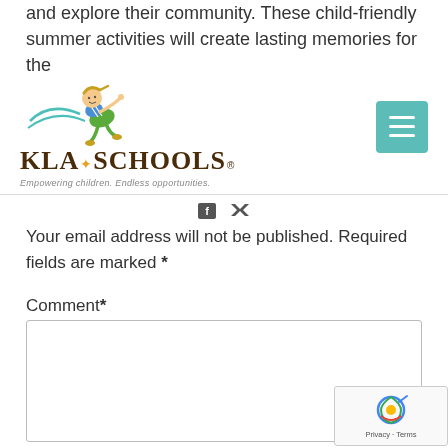and explore their community. These child-friendly summer activities will create lasting memories for the
[Figure (logo): KLA Schools logo with cartoon child running, tagline: Empowering children. Endless opportunities.]
Your email address will not be published. Required fields are marked *
Comment*
[Figure (other): Empty comment text area input box]